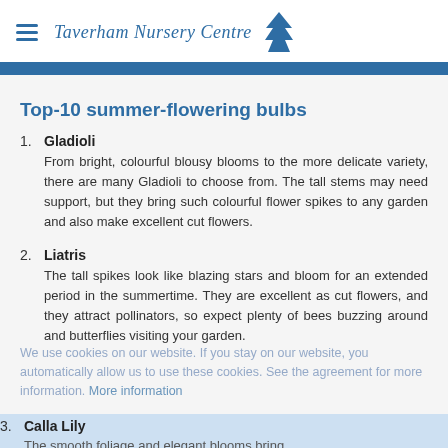Taverham Nursery Centre
Top-10 summer-flowering bulbs
Gladioli
From bright, colourful blousy blooms to the more delicate variety, there are many Gladioli to choose from. The tall stems may need support, but they bring such colourful flower spikes to any garden and also make excellent cut flowers.
Liatris
The tall spikes look like blazing stars and bloom for an extended period in the summertime. They are excellent as cut flowers, and they attract pollinators, so expect plenty of bees buzzing around and butterflies visiting your garden.
Calla Lily
The smooth foliage and elegant blooms bring